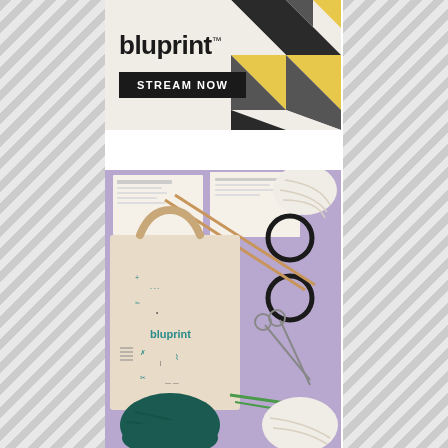[Figure (advertisement): Bluprint advertisement banner with 'STREAM NOW' button. Features geometric quilt fabric with black, gray, yellow triangles on a beige background. Bluprint logo in bold black text.]
[Figure (photo): Photo of Bluprint branded tote bag on a lavender/purple background. The canvas tote has knitting/sewing tool graphics printed on it with 'bluprint' branding. Surrounded by knitting needles, yarn (white and dark teal/green), scissors, and circular needle accessories laid flat.]